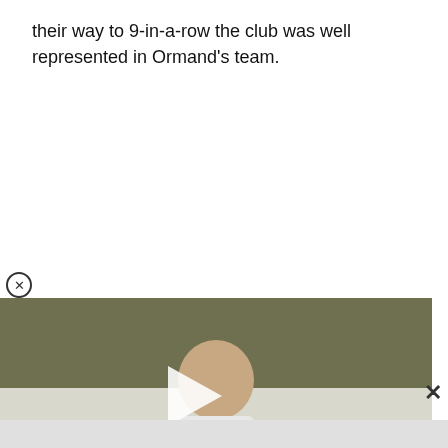their way to 9-in-a-row the club was well represented in Ormand's team.
[Figure (screenshot): Video thumbnail showing a man in a white shirt seated, with a white play button overlay. A close (X in circle) button appears at the top-left of the video area. An X button appears at the right side.]